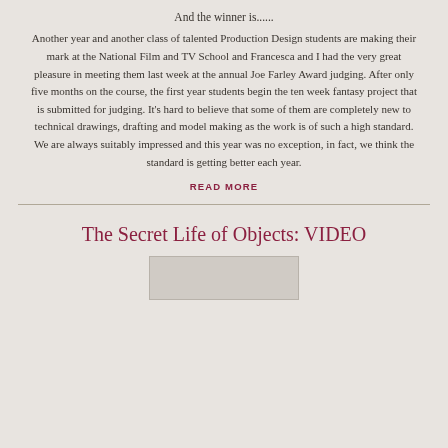And the winner is......
Another year and another class of talented Production Design students are making their mark at the National Film and TV School and Francesca and I had the very great pleasure in meeting them last week at the annual Joe Farley Award judging. After only five months on the course, the first year students begin the ten week fantasy project that is submitted for judging. It's hard to believe that some of them are completely new to technical drawings, drafting and model making as the work is of such a high standard. We are always suitably impressed and this year was no exception, in fact, we think the standard is getting better each year.
READ MORE
The Secret Life of Objects: VIDEO
[Figure (other): Video thumbnail placeholder — light grey rectangle]